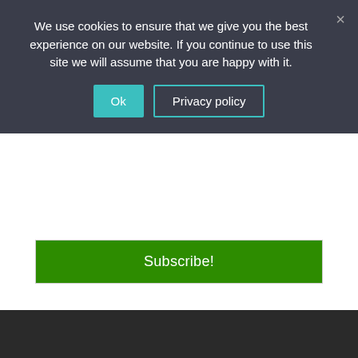We use cookies to ensure that we give you the best experience on our website. If you continue to use this site we will assume that you are happy with it.
Ok
Privacy policy
Subscribe!
About Us
THIS IS NOT AN OFFICIAL Minecraft or Mojang or Microsoft website
minecraftbuildinginc.com is a blog for Minecraft builders where we review and share interesting builds, the builds